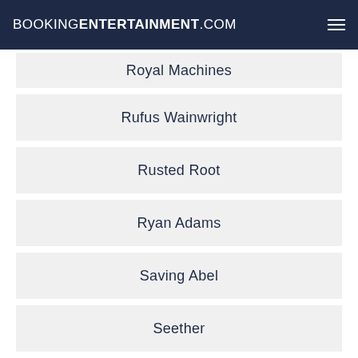BOOKINGENTERTAINMENT.COM
Royal Machines
Rufus Wainwright
Rusted Root
Ryan Adams
Saving Abel
Seether
Shinedown
Simple Plan
Sister Hazel